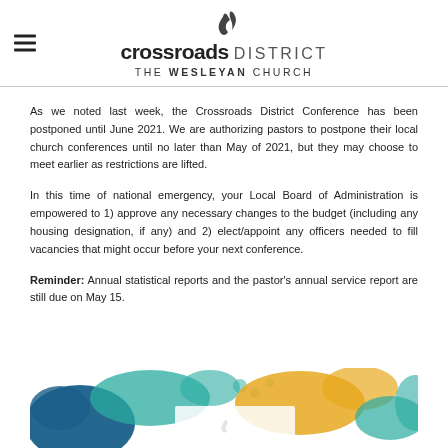crossroads DISTRICT THE WESLEYAN CHURCH
As we noted last week, the Crossroads District Conference has been postponed until June 2021. We are authorizing pastors to postpone their local church conferences until no later than May of 2021, but they may choose to meet earlier as restrictions are lifted.
In this time of national emergency, your Local Board of Administration is empowered to 1) approve any necessary changes to the budget (including any housing designation, if any) and 2) elect/appoint any officers needed to fill vacancies that might occur before your next conference.
Reminder: Annual statistical reports and the pastor’s annual service report are still due on May 15.
[Figure (illustration): Colorful abstract paint splash design with teal, blue, yellow/gold and white colors, partially visible at bottom of page]